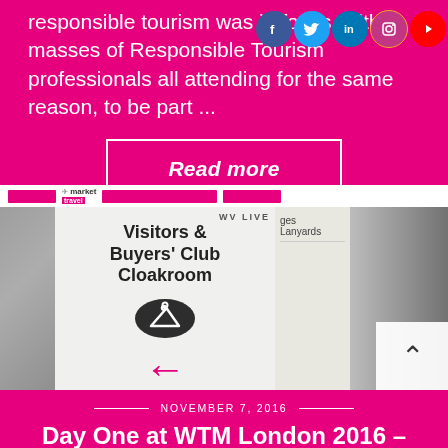responsible tourism was in focus, with masses of Responsible Tourism professionals all attending for the same reason, to be part ...
Read more
[Figure (photo): Exhibition venue showing a Visitors & Buyers Club Cloakroom sign with hanger icon and pink arrow, alongside crowd of attendees at WTM London trade show]
NOVEMBER 7, 2016
Day One at WTM London 2016 –